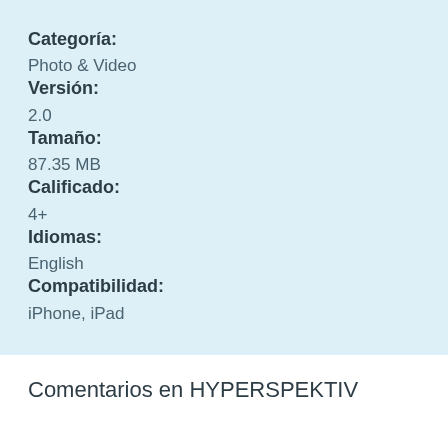Categoría:
Photo & Video
Versión:
2.0
Tamaño:
87.35 MB
Calificado:
4+
Idiomas:
English
Compatibilidad:
iPhone, iPad
Comentarios en HYPERSPEKTIV